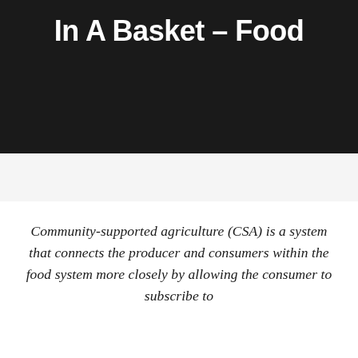In A Basket – Food
Community-supported agriculture (CSA) is a system that connects the producer and consumers within the food system more closely by allowing the consumer to subscribe to